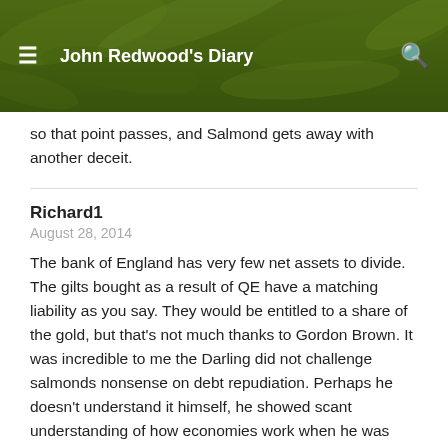John Redwood's Diary
so that point passes, and Salmond gets away with another deceit.
Richard1
August 28, 2014
The bank of England has very few net assets to divide. The gilts bought as a result of QE have a matching liability as you say. They would be entitled to a share of the gold, but that's not much thanks to Gordon Brown. It was incredible to me the Darling did not challenge salmonds nonsense on debt repudiation. Perhaps he doesn't understand it himself, he showed scant understanding of how economies work when he was chancellor.